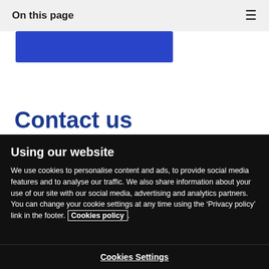On this page
[Figure (screenshot): Blue banner/button partially visible at top]
Contact us
Using our website
We use cookies to personalise content and ads, to provide social media features and to analyse our traffic. We also share information about your use of our site with our social media, advertising and analytics partners. You can change your cookie settings at any time using the ‘Privacy policy’ link in the footer. Cookies policy.
Cookies Settings